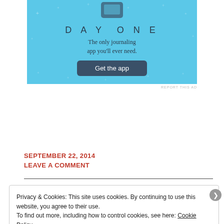[Figure (advertisement): Day One journaling app advertisement on light blue background with sparkle stars. Shows 'DAY ONE' title in spaced letters, subtitle 'The only journaling app you'll ever need.' and a 'Get the app' button in dark blue.]
REPORT THIS AD
SEPTEMBER 22, 2014
LEAVE A COMMENT
Privacy & Cookies: This site uses cookies. By continuing to use this website, you agree to their use.
To find out more, including how to control cookies, see here: Cookie Policy
Close and accept